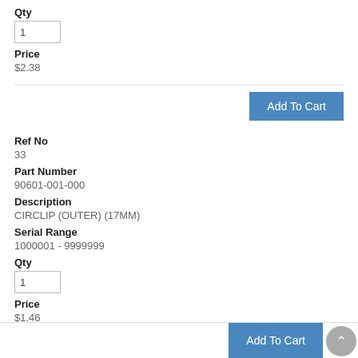Qty
1
Price
$2.38
Add To Cart
Ref No
33
Part Number
90601-001-000
Description
CIRCLIP (OUTER) (17MM)
Serial Range
1000001 - 9999999
Qty
1
Price
$1.46
Add To Cart